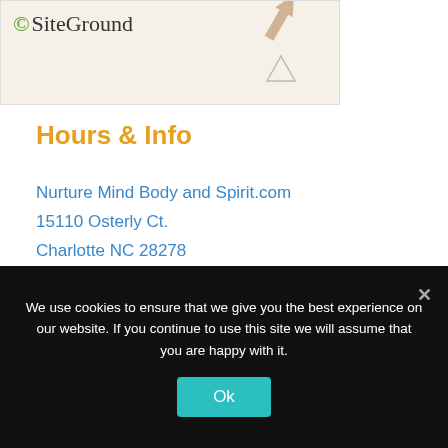[Figure (screenshot): SiteGround logo banner with decorative arrow and triangle graphics on a beige textured background]
Hours & Info
Nurture Mind Body and Spirit.com
15110 Osterly Ct.
Charlotte NC 28278
USA
+1 980 225 7449
Follow Us
We use cookies to ensure that we give you the best experience on our website. If you continue to use this site we will assume that you are happy with it.